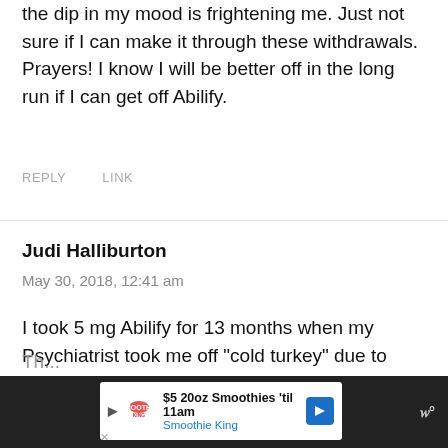the dip in my mood is frightening me. Just not sure if I can make it through these withdrawals. Prayers! I know I will be better off in the long run if I can get off Abilify.
REPLY   LINK
Judi Halliburton
May 30, 2018, 12:41 am
I took 5 mg Abilify for 13 months when my Psychiatrist took me off “cold turkey” due to shaking in hands and lips. The first 6 days were fine, then I went shopping and started profuse sweating and flushing. By the time I got home, (I live alone) I was soaked through my clothes and shoes.
[Figure (screenshot): Advertisement banner for Smoothie King showing '$5 20oz Smoothies til 11am' offer with logo and navigation arrow, on a dark background bar at bottom of page.]
Th...